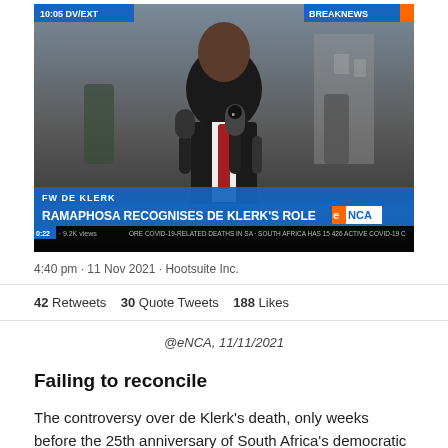[Figure (screenshot): TV news screenshot showing a man in a suit being interviewed outdoors with microphones, overlaid with chyrons: 'FW DE KLERK', 'RAMAPHOSA RECOGNISES DE KLERK'S ROLE', eNCA logo, 0:22 · 9.2K views, COVID-19 ticker at the bottom.]
4:40 pm · 11 Nov 2021 · Hootsuite Inc.
42 Retweets   30 Quote Tweets   188 Likes
@eNCA, 11/11/2021
Failing to reconcile
The controversy over de Klerk's death, only weeks before the 25th anniversary of South Africa's democratic